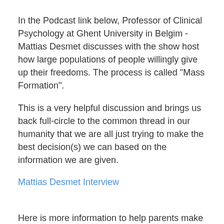In the Podcast link below, Professor of Clinical Psychology at Ghent University in Belgim - Mattias Desmet discusses with the show host how large populations of people willingly give up their freedoms. The process is called "Mass Formation".
This is a very helpful discussion and brings us back full-circle to the common thread in our humanity that we are all just trying to make the best decision(s) we can based on the information we are given.
Mattias Desmet Interview
Here is more information to help parents make an Informed Decision:
Video: https://rumble.com/vqx3kb-the-pfizer-inoculations-do-more-harm-than-good.html
Write up: https://www.canadiancovidcarealliance.org/media-